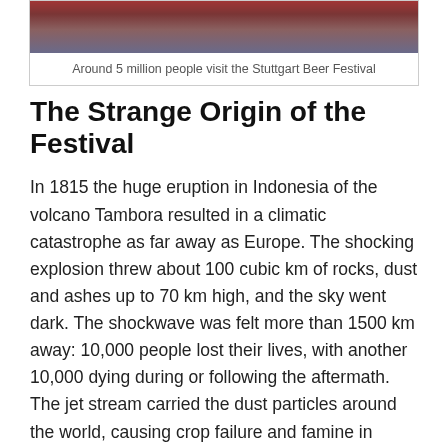[Figure (photo): Crowd of people at the Stuttgart Beer Festival]
Around 5 million people visit the Stuttgart Beer Festival
The Strange Origin of the Festival
In 1815 the huge eruption in Indonesia of the volcano Tambora resulted in a climatic catastrophe as far away as Europe. The shocking explosion threw about 100 cubic km of rocks, dust and ashes up to 70 km high, and the sky went dark. The shockwave was felt more than 1500 km away: 10,000 people lost their lives, with another 10,000 dying during or following the aftermath. The jet stream carried the dust particles around the world, causing crop failure and famine in Europe.
In the German state of Württemberg they had the coldest 1815/16 winter since records began – snow